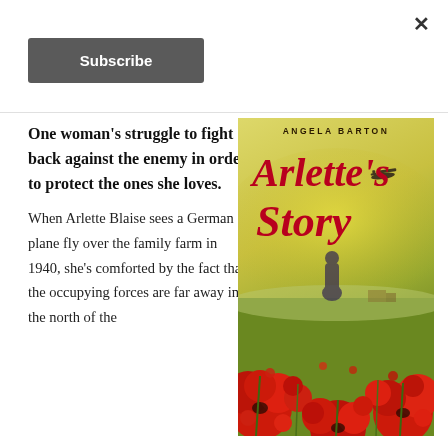×
Subscribe
One woman's struggle to fight back against the enemy in order to protect the ones she loves.
When Arlette Blaise sees a German plane fly over the family farm in 1940, she's comforted by the fact that the occupying forces are far away in the north of the
[Figure (illustration): Book cover of 'Arlette's Story' by Angela Barton. Features a woman standing in a field of red poppies with a golden/green sky. The title is written in large red italic script. A small airplane silhouette appears near the top right of the title.]